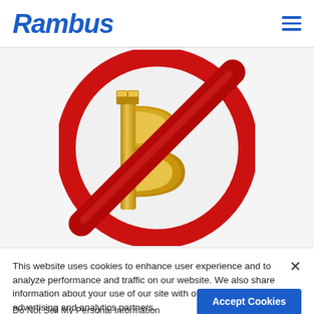Rambus
[Figure (illustration): A no-bitcoin symbol: a large gold Bitcoin 'B' with vertical strokes at the top, inside a red prohibition circle with a diagonal red slash across it, on a white background.]
This website uses cookies to enhance user experience and to analyze performance and traffic on our website. We also share information about your use of our site with our social media, advertising and analytics partners.
Do Not Sell My Personal Information
Accept Cookies